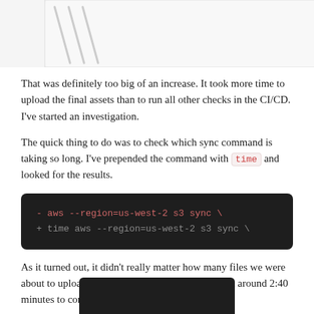[Figure (illustration): Top portion of a chart or image, partially cropped, showing diagonal lines on a light grey background]
That was definitely too big of an increase. It took more time to upload the final assets than to run all other checks in the CI/CD. I've started an investigation.
The quick thing to do was to check which sync command is taking so long. I've prepended the command with time and looked for the results.
[Figure (screenshot): Dark code block showing diff: - aws --region=us-west-2 s3 sync \ and + time aws --region=us-west-2 s3 sync \]
As it turned out, it didn't really matter how many files we were about to upload. All of our sync commands took around 2:40 minutes to complete.
[Figure (screenshot): Partial bottom dark terminal/code block, cropped]